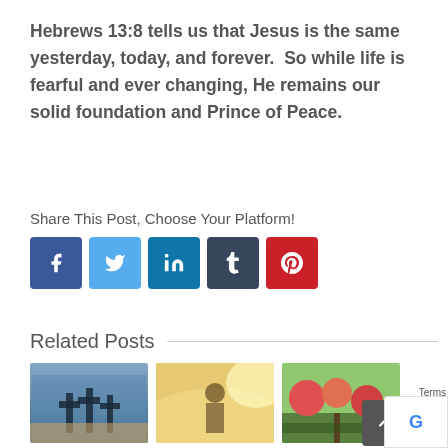Hebrews 13:8 tells us that Jesus is the same yesterday, today, and forever.  So while life is fearful and ever changing, He remains our solid foundation and Prince of Peace.
Share This Post, Choose Your Platform!
[Figure (infographic): Row of social media sharing icons: Facebook (dark blue), Twitter (light blue), LinkedIn (blue), Tumblr (dark navy), Pinterest (red)]
Related Posts
[Figure (photo): Three crosses silhouette against blue sky]
[Figure (photo): Person sitting in bright sunlight]
[Figure (photo): Garden scene with colorful flowers]